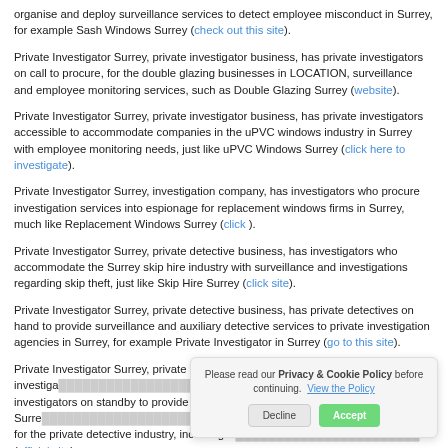organise and deploy surveillance services to detect employee misconduct in Surrey, for example Sash Windows Surrey (check out this site).
Private Investigator Surrey, private investigator business, has private investigators on call to procure, for the double glazing businesses in LOCATION, surveillance and employee monitoring services, such as Double Glazing Surrey (website).
Private Investigator Surrey, private investigator business, has private investigators accessible to accommodate companies in the uPVC windows industry in Surrey with employee monitoring needs, just like uPVC Windows Surrey (click here to investigate).
Private Investigator Surrey, investigation company, has investigators who procure investigation services into espionage for replacement windows firms in Surrey, much like Replacement Windows Surrey (click ).
Private Investigator Surrey, private detective business, has investigators who accommodate the Surrey skip hire industry with surveillance and investigations regarding skip theft, just like Skip Hire Surrey (click site).
Private Investigator Surrey, private detective business, has private detectives on hand to provide surveillance and auxiliary detective services to private investigation agencies in Surrey, for example Private Investigator in Surrey (go to this site).
Private Investigator Surrey, private investigator business, has private investigators on standby to provide the Surrey with surveillance services for the private detective industry, including uPVC Windows Surrey (official site).
[Figure (screenshot): Cookie consent banner with text 'Please read our Privacy & Cookie Policy before continuing. View the Policy' and two buttons: Decline and Accept]